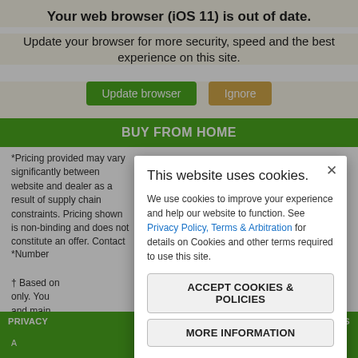Your web browser (iOS 11) is out of date.
Update your browser for more security, speed and the best experience on this site.
Update browser   Ignore
BUY FROM HOME
*Pricing provided may vary significantly between website and dealer as a result of supply chain constraints. Pricing shown is non-binding and does not constitute an offer. Contact your dealer for updated
*Number
† Based on   purposes only. You   drive and main
This website uses cookies.
We use cookies to improve your experience and help our website to function. See Privacy Policy, Terms & Arbitration for details on Cookies and other terms required to use this site.
ACCEPT COOKIES & POLICIES
MORE INFORMATION
Privacy Policy
PRIVACY   ACT US